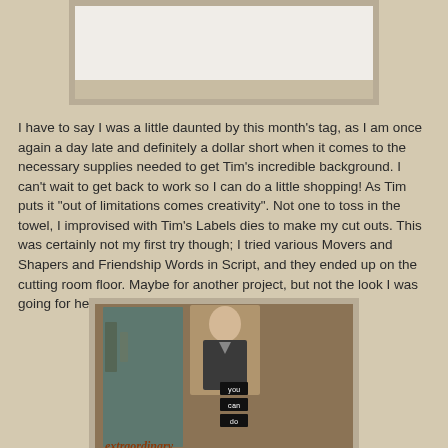[Figure (photo): Top photo area - partially visible photograph with light/white background, cut off at top of page]
I have to say I was a little daunted by this month's tag, as I am once again a day late and definitely a dollar short when it comes to the necessary supplies needed to get Tim's incredible background. I can't wait to get back to work so I can do a little shopping!  As Tim puts it "out of limitations comes creativity". Not one to toss in the towel, I improvised with Tim's Labels dies to make my cut outs.  This was certainly not my first try though; I tried various Movers and Shapers and Friendship Words in Script, and they ended up on the cutting room floor. Maybe for another project, but not the look I was going for here.
[Figure (photo): Bottom craft photo showing a handmade tag/card with a vintage portrait figure, small label tags reading 'you', 'can', 'do', and partial text 'extraordinary' on a distressed background]